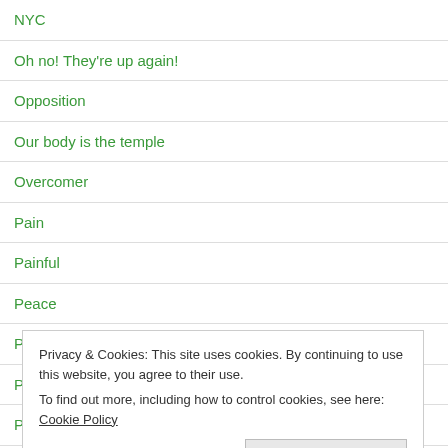NYC
Oh no! They're up again!
Opposition
Our body is the temple
Overcomer
Pain
Painful
Peace
Perfection
Privacy & Cookies: This site uses cookies. By continuing to use this website, you agree to their use. To find out more, including how to control cookies, see here: Cookie Policy
Place your pain began